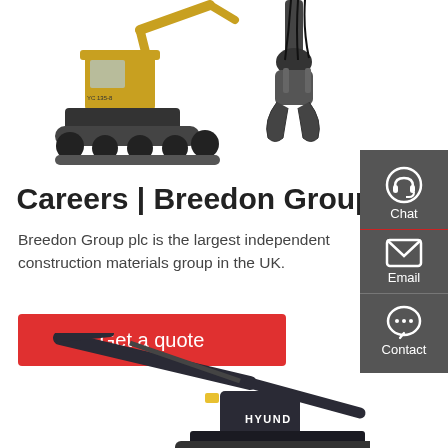[Figure (photo): Yellow excavator/digger construction machine on white background, top left area]
[Figure (photo): Partial view of construction machinery attachment (grapple/claw) on white background, top right area]
Careers | Breedon Group
Breedon Group plc is the largest independent construction materials group in the UK.
Get a quote
[Figure (infographic): Dark grey sidebar panel with Chat, Email, and Contact icons and labels]
[Figure (photo): Dark Hyundai excavator machinery, partially visible at bottom of page]